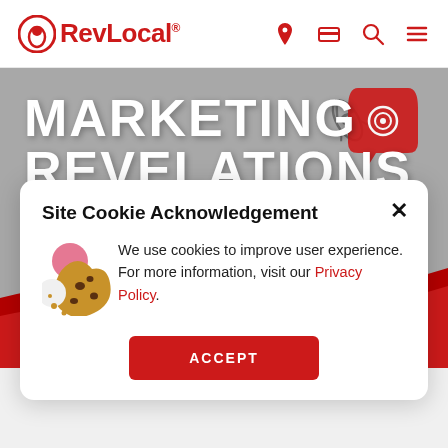RevLocal®
[Figure (illustration): Marketing Revelations banner with gray background, showing bold white text 'MARKETING REVELATIONS' and subtitle 'It's Not Too late! Retail Marketing For the Holiday Season and Beyond', with icons of rocket, gear, bar chart, and fingerprint on the right side. Red wave at bottom.]
Site Cookie Acknowledgement ✕
We use cookies to improve user experience. For more information, visit our Privacy Policy.
ACCEPT